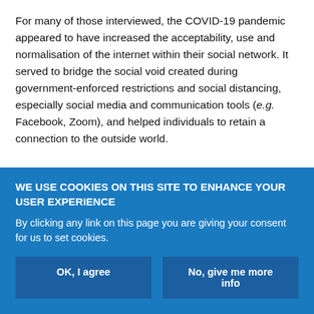For many of those interviewed, the COVID-19 pandemic appeared to have increased the acceptability, use and normalisation of the internet within their social network. It served to bridge the social void created during government-enforced restrictions and social distancing, especially social media and communication tools (e.g. Facebook, Zoom), and helped individuals to retain a connection to the outside world.
I had to shield, it's [the internet] sort of, been a lifeline because it's just me and the dogs, and the
WE USE COOKIES ON THIS SITE TO ENHANCE YOUR USER EXPERIENCE
By clicking any link on this page you are giving your consent for us to set cookies.